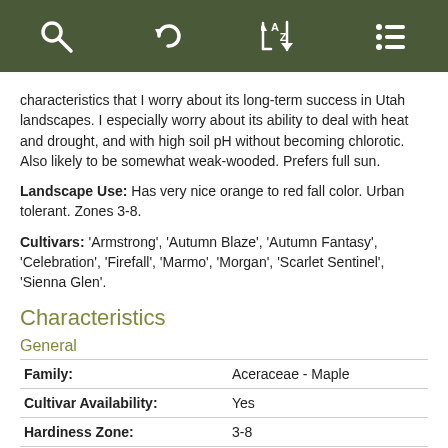[Figure (screenshot): App toolbar with search, undo, sort A-Z, and list/menu icons on dark olive green background]
characteristics that I worry about its long-term success in Utah landscapes. I especially worry about its ability to deal with heat and drought, and with high soil pH without becoming chlorotic. Also likely to be somewhat weak-wooded. Prefers full sun.
Landscape Use: Has very nice orange to red fall color. Urban tolerant. Zones 3-8.
Cultivars: 'Armstrong', 'Autumn Blaze', 'Autumn Fantasy', 'Celebration', 'Firefall', 'Marmo', 'Morgan', 'Scarlet Sentinel', 'Sienna Glen'.
Characteristics
General
|  |  |
| --- | --- |
| Family: | Aceraceae - Maple |
| Cultivar Availability: | Yes |
| Hardiness Zone: | 3-8 |
|  | Broadleaf... |